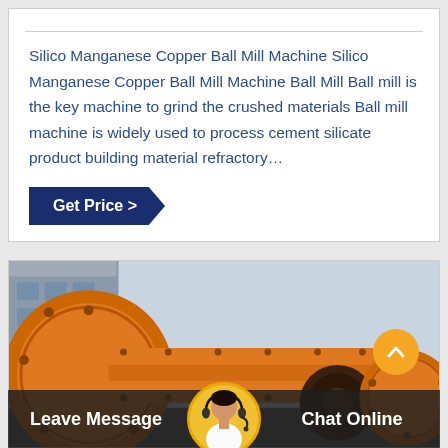Silico Manganese Copper Ball Mill Machine Silico Manganese Copper Ball Mill Machine Ball Mill Ball mill is the key machine to grind the crushed materials Ball mill machine is widely used to process cement silicate product building material refractory…
Get Price >
[Figure (photo): Industrial orange ball mill machine photographed outdoors near a factory building with grey sky background]
Leave Message
Chat Online